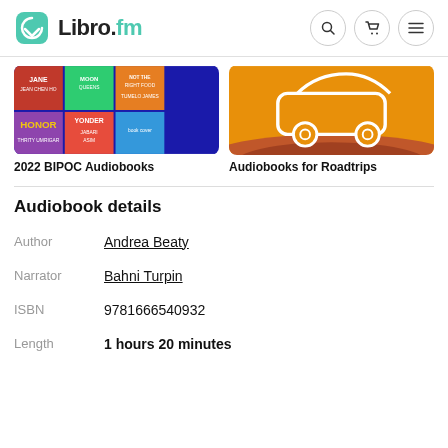Libro.fm
[Figure (illustration): Two collection thumbnails: '2022 BIPOC Audiobooks' showing a colorful mosaic of book covers, and 'Audiobooks for Roadtrips' showing an orange illustration of a car on a road]
2022 BIPOC Audiobooks
Audiobooks for Roadtrips
Audiobook details
| Field | Value |
| --- | --- |
| Author | Andrea Beaty |
| Narrator | Bahni Turpin |
| ISBN | 9781666540932 |
| Length | 1 hours 20 minutes |